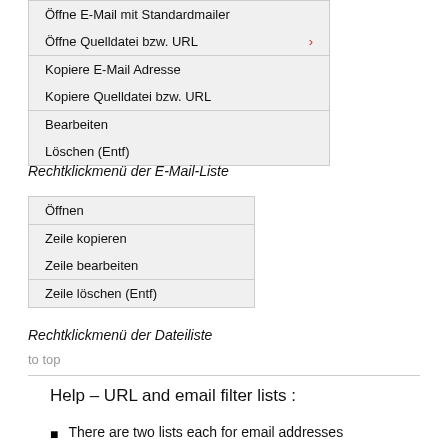[Figure (screenshot): Context menu box showing items: Öffne E-Mail mit Standardmailer, Öffne Quelldatei bzw. URL (with arrow), Kopiere E-Mail Adresse, Kopiere Quelldatei bzw. URL, Bearbeiten, Löschen (Entf)]
Rechtklickmenü der E-Mail-Liste
[Figure (screenshot): Context menu box showing items: Öffnen, Zeile kopieren, Zeile bearbeiten, Zeile löschen (Entf)]
Rechtklickmenü der Dateiliste
to top
Help – URL and email filter lists :
There are two lists each for email addresses